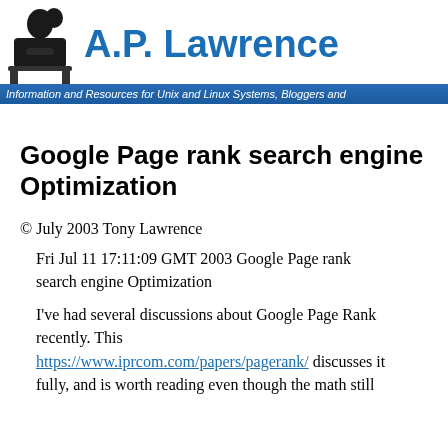[Figure (logo): A.P. Lawrence website header with logo of a person at a desk and blue site title text]
Information and Resources for Unix and Linux Systems, Bloggers and
Google Page rank search engine Optimization
© July 2003 Tony Lawrence
Fri Jul 11 17:11:09 GMT 2003 Google Page rank search engine Optimization
I've had several discussions about Google Page Rank recently. This https://www.iprcom.com/papers/pagerank/ discusses it fully, and is worth reading even though the math still